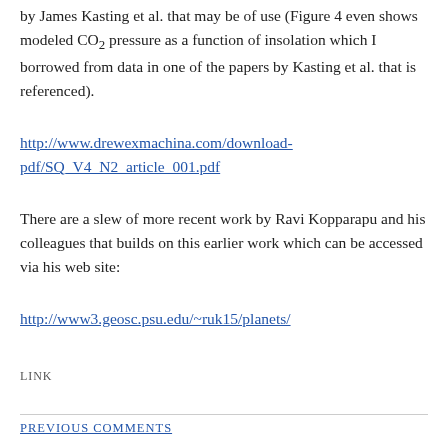by James Kasting et al. that may be of use (Figure 4 even shows modeled CO2 pressure as a function of insolation which I borrowed from data in one of the papers by Kasting et al. that is referenced).
http://www.drewexmachina.com/download-pdf/SQ_V4_N2_article_001.pdf
There are a slew of more recent work by Ravi Kopparapu and his colleagues that builds on this earlier work which can be accessed via his web site:
http://www3.geosc.psu.edu/~ruk15/planets/
LINK
PREVIOUS COMMENTS